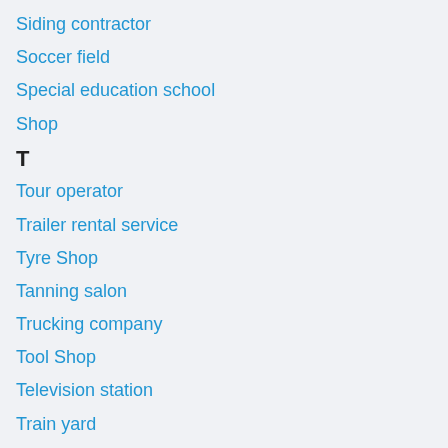Siding contractor
Soccer field
Special education school
Shop
T
Tour operator
Trailer rental service
Tyre Shop
Tanning salon
Trucking company
Tool Shop
Television station
Train yard
Takeout restaurant